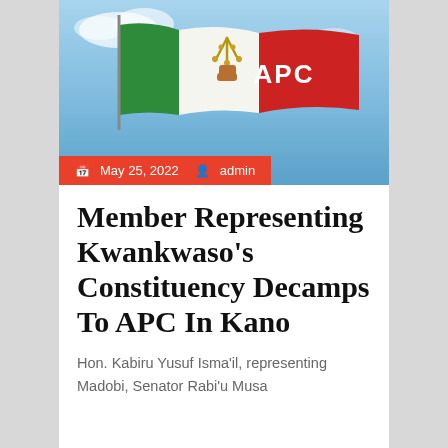[Figure (photo): APC (All Progressives Congress) party flag waving against a sky background, showing green, white, and red sections with the APC logo and text in white on red.]
May 25, 2022   admin
Member Representing Kwankwaso's Constituency Decamps To APC In Kano
Hon. Kabiru Yusuf Isma'il, representing Madobi, Senator Rabi'u Musa